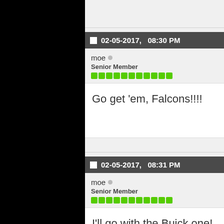02-05-2017,   08:30 PM
moe
Senior Member
Go get 'em, Falcons!!!!
02-05-2017,   08:31 PM
moe
Senior Member
I'll go with the Buick one!
02-05-2017,   08:32 PM